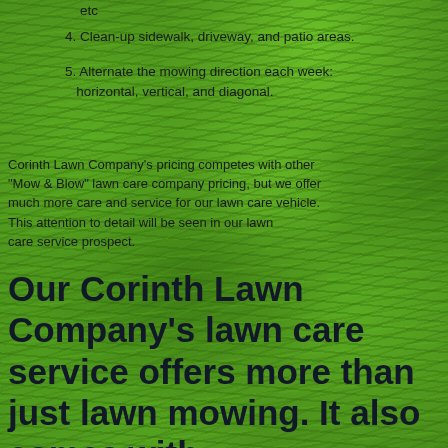[Figure (photo): Close-up photograph of green grass lawn covering entire page background]
etc
4. Clean-up sidewalk, driveway, and patio areas
5. Alternate the mowing direction each week: horizontal, vertical, and diagonal.
Corinth Lawn Company's pricing competes with other "Mow & Blow" lawn care company pricing, but we offer much more care and service for our lawn care vehicle. This attention to detail will be seen in our lawn care service prospect.
Our Corinth Lawn Company's lawn care service offers more than just lawn mowing. It also comes with: